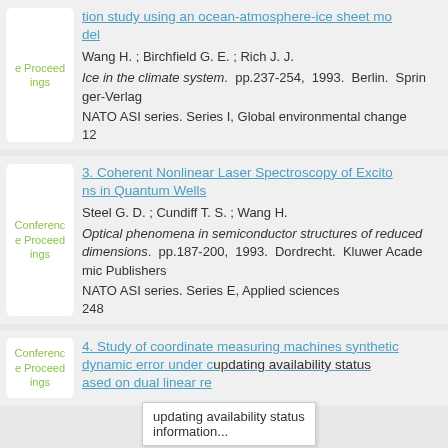tion study using an ocean-atmosphere-ice sheet model
Wang H. ; Birchfield G. E. ; Rich J. J.
Ice in the climate system. pp.237-254, 1993. Berlin. Springer-Verlag
NATO ASI series. Series I, Global environmental change
12
3. Coherent Nonlinear Laser Spectroscopy of Excitons in Quantum Wells
Steel G. D. ; Cundiff T. S. ; Wang H.
Optical phenomena in semiconductor structures of reduced dimensions. pp.187-200, 1993. Dordrecht. Kluwer Academic Publishers
NATO ASI series. Series E, Applied sciences
248
4. Study of coordinate measuring machines synthetic dynamic error under c[updating availability status information...]ased on dual linear re